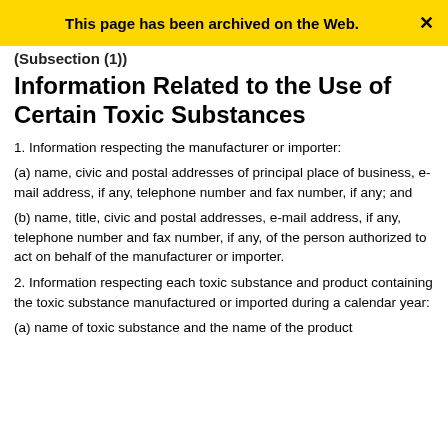This page has been archived on the Web.
(Subsection (1))
Information Related to the Use of Certain Toxic Substances
1. Information respecting the manufacturer or importer:
(a) name, civic and postal addresses of principal place of business, e-mail address, if any, telephone number and fax number, if any; and
(b) name, title, civic and postal addresses, e-mail address, if any, telephone number and fax number, if any, of the person authorized to act on behalf of the manufacturer or importer.
2. Information respecting each toxic substance and product containing the toxic substance manufactured or imported during a calendar year:
(a) name of toxic substance and the name of the product